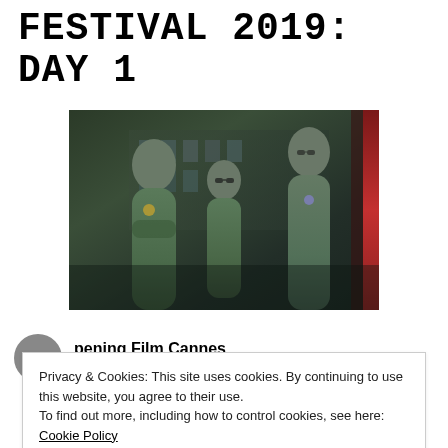FESTIVAL 2019: DAY 1
[Figure (photo): Three people in green police/security uniforms standing together at night, with a red-lit door frame on the right side.]
pening Film Cannes
Privacy & Cookies: This site uses cookies. By continuing to use this website, you agree to their use.
To find out more, including how to control cookies, see here: Cookie Policy
Close and accept